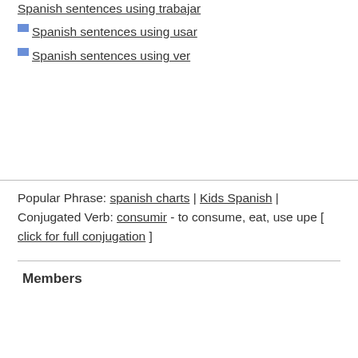Spanish sentences using trabajar
Spanish sentences using usar
Spanish sentences using ver
Popular Phrase: spanish charts | Kids Spanish | Conjugated Verb: consumir - to consume, eat, use upe [ click for full conjugation ]
Members